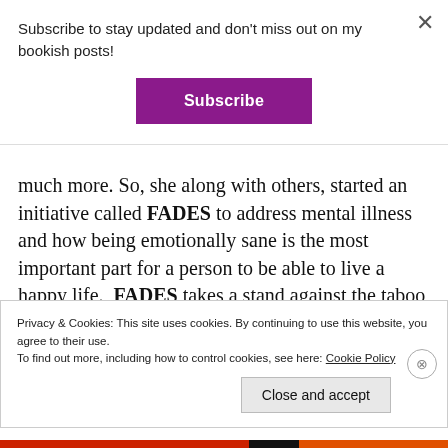Subscribe to stay updated and don't miss out on my bookish posts!
Subscribe
much more. So, she along with others, started an initiative called FADES to address mental illness and how being emotionally sane is the most important part for a person to be able to live a happy life. FADES takes a stand against the taboo posed by the society of not being able to talk openly about depression and other severe mental disorders and welcomes people
Privacy & Cookies: This site uses cookies. By continuing to use this website, you agree to their use.
To find out more, including how to control cookies, see here: Cookie Policy
Close and accept